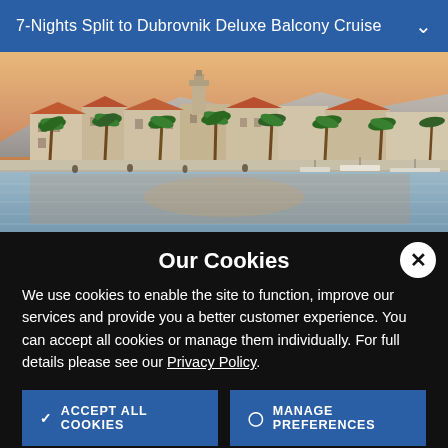7-Nights Split to Dubrovnik Deluxe Balcony Cruise
[Figure (photo): Waterfront view of Split, Croatia at golden hour, showing historic buildings, palm trees along the promenade, and reflections on calm water]
Our Cookies
We use cookies to enable the site to function, improve our services and provide you a better customer experience. You can accept all cookies or manage them individually. For full details please see our Privacy Policy.
ACCEPT ALL COOKIES
MANAGE PREFERENCES